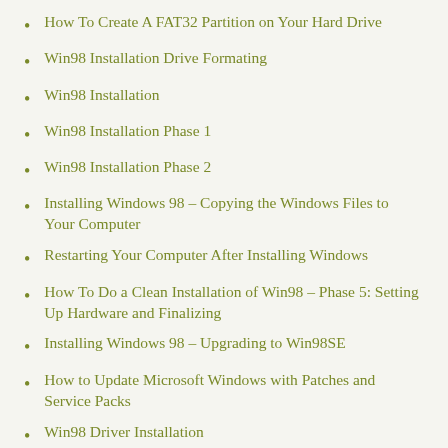How To Create A FAT32 Partition on Your Hard Drive
Win98 Installation Drive Formating
Win98 Installation
Win98 Installation Phase 1
Win98 Installation Phase 2
Installing Windows 98 – Copying the Windows Files to Your Computer
Restarting Your Computer After Installing Windows
How To Do a Clean Installation of Win98 – Phase 5: Setting Up Hardware and Finalizing
Installing Windows 98 – Upgrading to Win98SE
How to Update Microsoft Windows with Patches and Service Packs
Win98 Driver Installation